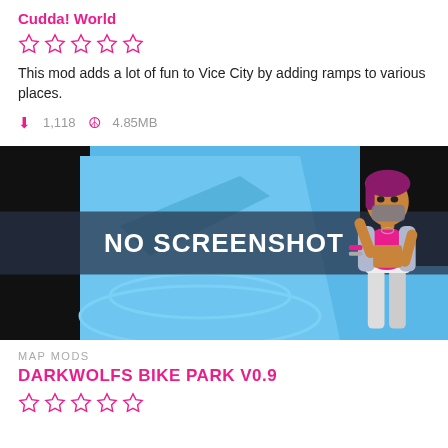Cudda! World
[Figure (other): Five empty star rating icons]
This mod adds a lot of fun to Vice City by adding ramps to various places.
1,118   4.85MB
[Figure (screenshot): No Screenshot placeholder image with Vice City female character illustration on blue background]
MAP MODS
DARKWOLFS BIKE PARK V0.9
[Figure (other): Five empty star rating icons]